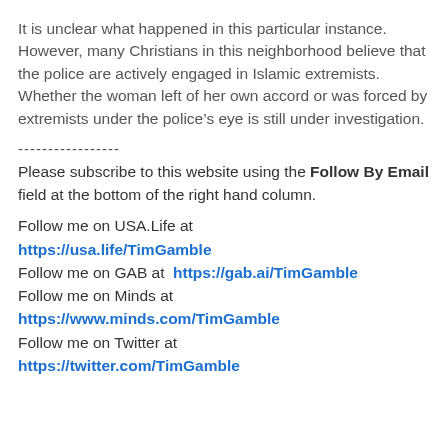It is unclear what happened in this particular instance. However, many Christians in this neighborhood believe that the police are actively engaged in Islamic extremists. Whether the woman left of her own accord or was forced by extremists under the police’s eye is still under investigation.
-----------------
Please subscribe to this website using the Follow By Email field at the bottom of the right hand column.
Follow me on USA.Life at https://usa.life/TimGamble
Follow me on GAB at  https://gab.ai/TimGamble
Follow me on Minds at https://www.minds.com/TimGamble
Follow me on Twitter at https://twitter.com/TimGamble